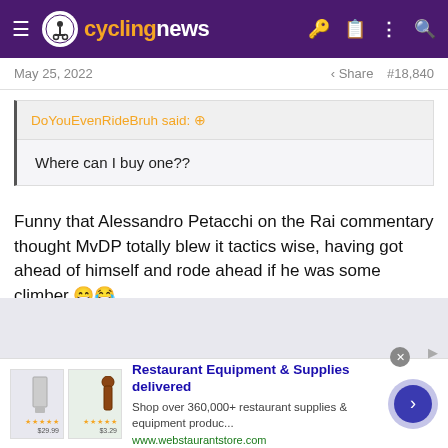cyclingnews
May 25, 2022   #18,840
DoYouEvenRideBruh said: ↗
Where can I buy one??
Funny that Alessandro Petacchi on the Rai commentary thought MvDP totally blew it tactics wise, having got ahead of himself and rode ahead if he was some climber. 😄😂
[Figure (screenshot): Advertisement banner for Restaurant Equipment & Supplies delivered from webstaurantstore.com]
Restaurant Equipment & Supplies delivered
Shop over 360,000+ restaurant supplies & equipment produc...
www.webstaurantstore.com